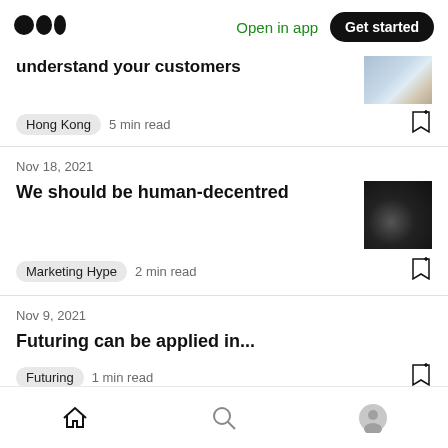Medium logo | Open in app | Get started
understand your customers
Hong Kong  5 min read
Nov 18, 2021
We should be human-decentred
Marketing Hype  2 min read
Nov 9, 2021
Futuring can be applied in...
Futuring  1 min read
Home | Search | Profile